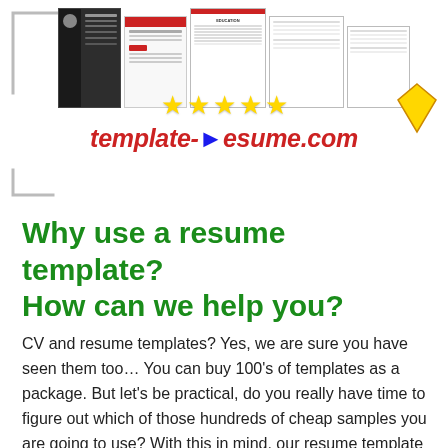[Figure (illustration): Website banner for template-resume.com showing resume template thumbnails, five gold stars, red and blue italic logo text, corner bracket decorations, and a yellow diamond shape]
Why use a resume template? How can we help you?
CV and resume templates? Yes, we are sure you have seen them too… You can buy 100's of templates as a package. But let's be practical, do you really have time to figure out which of those hundreds of cheap samples you are going to use? With this in mind, our resume template has condensed all the benefits of these other templates into one – and even gives you